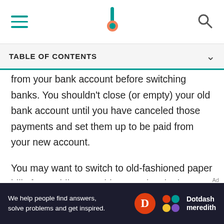[Navigation bar with hamburger menu, Investopedia-style logo, and search icon]
TABLE OF CONTENTS
from your bank account before switching banks. You shouldn't close (or empty) your old bank account until you have canceled those payments and set them up to be paid from your new account.
You may want to switch to old-fashioned paper bills for a while so nothing gets lost in the shuffle. You can still use the old account to pay bills using online bill pay, but be sure to “push” the money from the account while it’s still there instead of having your service providers “pull” payments automatically. Use these tips below to help avoid lapsed payments during the
[Figure (logo): Dotdash Meredith advertisement banner: dark background with white text 'We help people find answers, solve problems and get inspired.' and Dotdash Meredith logo]